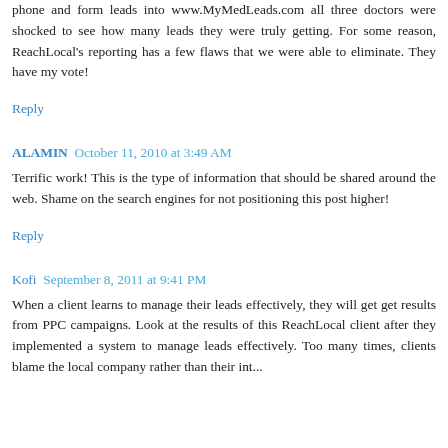phone and form leads into www.MyMedLeads.com all three doctors were shocked to see how many leads they were truly getting. For some reason, ReachLocal's reporting has a few flaws that we were able to eliminate. They have my vote!
Reply
ALAMIN  October 11, 2010 at 3:49 AM
Terrific work! This is the type of information that should be shared around the web. Shame on the search engines for not positioning this post higher!
Reply
Kofi  September 8, 2011 at 9:41 PM
When a client learns to manage their leads effectively, they will get get results from PPC campaigns. Look at the results of this ReachLocal client after they implemented a system to manage leads effectively. Too many times, clients blame the local company rather than their int...